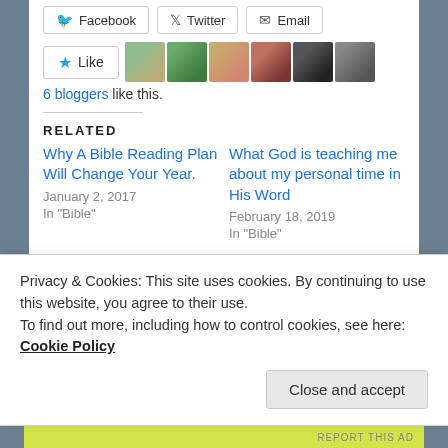[Figure (screenshot): Social share buttons: Facebook, Twitter, Email]
[Figure (screenshot): Like button with star icon and 6 blogger avatars]
6 bloggers like this.
RELATED
Why A Bible Reading Plan Will Change Your Year.
January 2, 2017
In "Bible"
What God is teaching me about my personal time in His Word
February 18, 2019
In "Bible"
Luke 6:40 – Definition of
Privacy & Cookies: This site uses cookies. By continuing to use this website, you agree to their use.
To find out more, including how to control cookies, see here: Cookie Policy